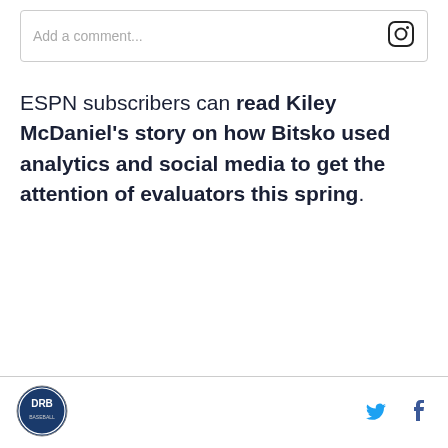[Figure (screenshot): Comment input box with placeholder text 'Add a comment...' and an Instagram icon on the right]
ESPN subscribers can read Kiley McDaniel's story on how Bitsko used analytics and social media to get the attention of evaluators this spring.
Footer with DRB logo on left, Twitter and Facebook icons on right